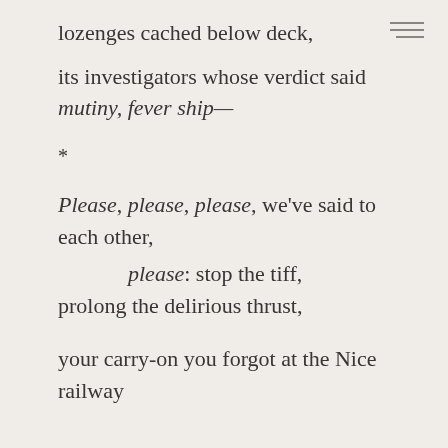lozenges cached below deck,
its investigators whose verdict said
mutiny, fever ship—
*
Please, please, please, we've said to each other,
	please: stop the tiff,
prolong the delirious thrust,
your carry-on you forgot at the Nice railway